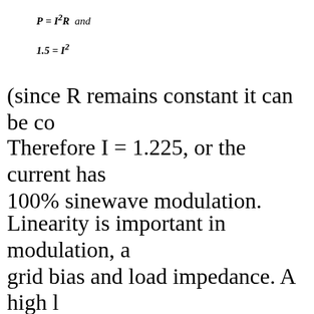(since R remains constant it can be co...
Therefore I = 1.225, or the current has... 100% sinewave modulation.
Linearity is important in modulation, a... grid bias and load impedance. A high l... computed by Z = E/I, where E is the d... r.f. tube and I is the d.c. plate current,